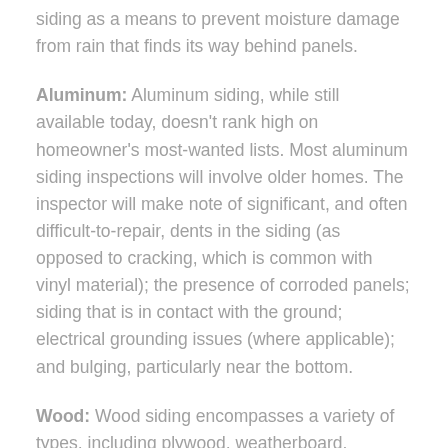siding as a means to prevent moisture damage from rain that finds its way behind panels.
Aluminum: Aluminum siding, while still available today, doesn't rank high on homeowner's most-wanted lists. Most aluminum siding inspections will involve older homes. The inspector will make note of significant, and often difficult-to-repair, dents in the siding (as opposed to cracking, which is common with vinyl material); the presence of corroded panels; siding that is in contact with the ground; electrical grounding issues (where applicable); and bulging, particularly near the bottom.
Wood: Wood siding encompasses a variety of types, including plywood, weatherboard, shingles and shakes, planks, and hardboard. While highly pleasing to the eye, exterior wood cladding comes with a